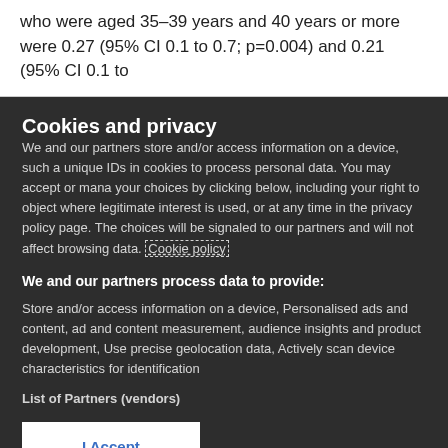who were aged 35–39 years and 40 years or more were 0.27 (95% CI 0.1 to 0.7; p=0.004) and 0.21 (95% CI 0.1 to
Cookies and privacy
We and our partners store and/or access information on a device, such a unique IDs in cookies to process personal data. You may accept or mana your choices by clicking below, including your right to object where legitimate interest is used, or at any time in the privacy policy page. The choices will be signaled to our partners and will not affect browsing data. Cookie policy
We and our partners process data to provide:
Store and/or access information on a device, Personalised ads and content, ad and content measurement, audience insights and product development, Use precise geolocation data, Actively scan device characteristics for identification
List of Partners (vendors)
I Accept